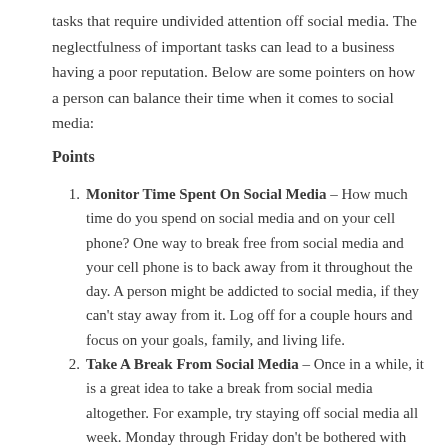tasks that require undivided attention off social media. The neglectfulness of important tasks can lead to a business having a poor reputation. Below are some pointers on how a person can balance their time when it comes to social media:
Points
Monitor Time Spent On Social Media – How much time do you spend on social media and on your cell phone? One way to break free from social media and your cell phone is to back away from it throughout the day. A person might be addicted to social media, if they can't stay away from it. Log off for a couple hours and focus on your goals, family, and living life.
Take A Break From Social Media – Once in a while, it is a great idea to take a break from social media altogether. For example, try staying off social media all week. Monday through Friday don't be bothered with social